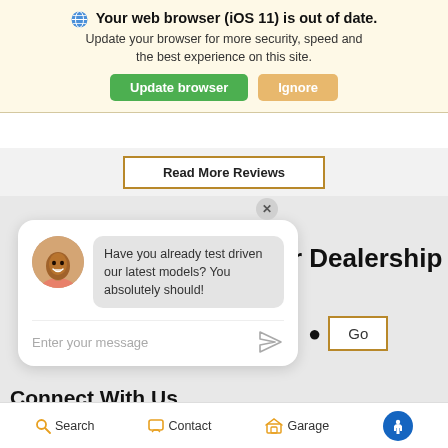🌐 Your web browser (iOS 11) is out of date. Update your browser for more security, speed and the best experience on this site.
Update browser | Ignore
Read More Reviews
[Figure (screenshot): Chat popup with avatar photo of a young man smiling, message bubble saying 'Have you already test driven our latest models? You absolutely should!' and text input field 'Enter your message' with send icon]
r Dealership
Go
Connect With Us
Search   Contact   Garage   [accessibility icon]